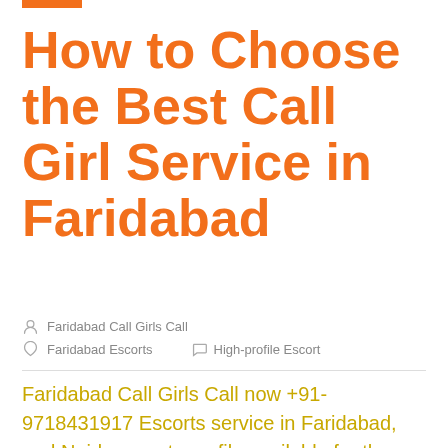How to Choose the Best Call Girl Service in Faridabad
Faridabad Call Girls Call
Faridabad Escorts   High-profile Escort
Faridabad Call Girls Call now +91-9718431917 Escorts service in Faridabad, and Noida escorts profile available for the best erotic Call girls in Faridabad Hotels.